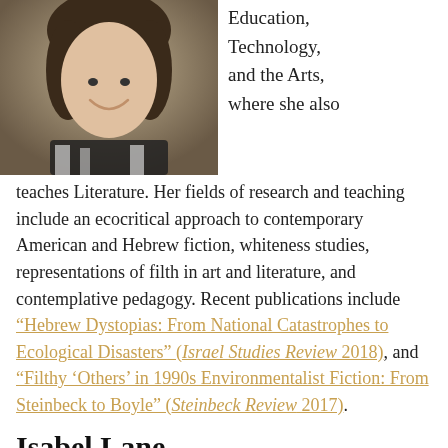[Figure (photo): Portrait photo of a woman with curly hair wearing a black and white patterned top, smiling, outdoors.]
Education, Technology, and the Arts, where she also teaches Literature. Her fields of research and teaching include an ecocritical approach to contemporary American and Hebrew fiction, whiteness studies, representations of filth in art and literature, and contemplative pedagogy. Recent publications include “Hebrew Dystopias: From National Catastrophes to Ecological Disasters” (Israel Studies Review 2018), and “Filthy ‘Others’ in 1990s Environmentalist Fiction: From Steinbeck to Boyle” (Steinbeck Review 2017).
Isabel Lane
[Figure (photo): Portrait photo of Isabel Lane, partially visible at bottom of page.]
Isabel Lane’s PhD in Slavic